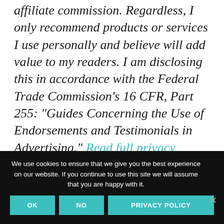affiliate commission. Regardless, I only recommend products or services I use personally and believe will add value to my readers. I am disclosing this in accordance with the Federal Trade Commission's 16 CFR, Part 255: "Guides Concerning the Use of Endorsements and Testimonials in Advertising." Read full privacy policy here.
We use cookies to ensure that we give you the best experience on our website. If you continue to use this site we will assume that you are happy with it.
OK
NO
PRIVACY POLICY